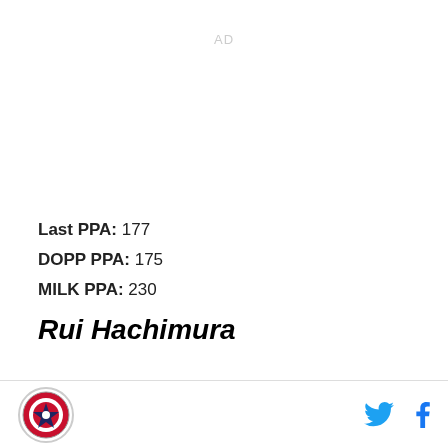AD
Last PPA: 177
DOPP PPA: 175
MILK PPA: 230
Rui Hachimura
[Figure (logo): Sports team logo circle at bottom left]
[Figure (logo): Twitter bird icon and Facebook f icon at bottom right]